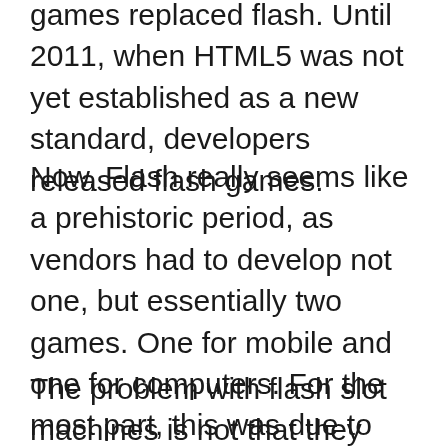games replaced flash. Until 2011, when HTML5 was not yet established as a new standard, developers released flash games.
Now, Flash really seems like a prehistoric period, as vendors had to develop not one, but essentially two games. One for mobile and one for computers. For the most part, this was due to the difference in the capabilities of phones and computers and the specifics of the format.
The problem with flash slot machines is not that they cannot be launched from phones, but that they did not quite fit